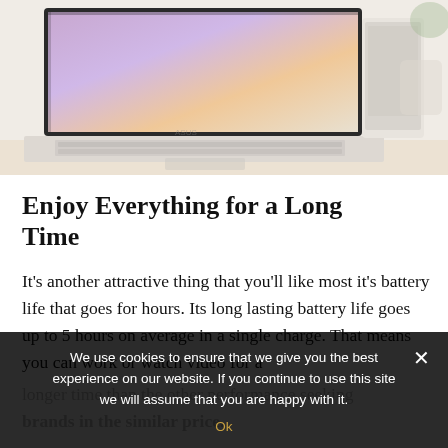[Figure (photo): A laptop computer with colorful screen display, keyboard visible, and a secondary device on the right side, shown on a light-colored desk surface.]
Enjoy Everything for a Long Time
It's another attractive thing that you'll like most it's battery life that goes for hours. Its long lasting battery life goes up to 5 hours on average in a single charge. That means you can work or watch video for a longer time than the other performance seeking brands in the similar price.
We use cookies to ensure that we give you the best experience on our website. If you continue to use this site we will assume that you are happy with it. Ok